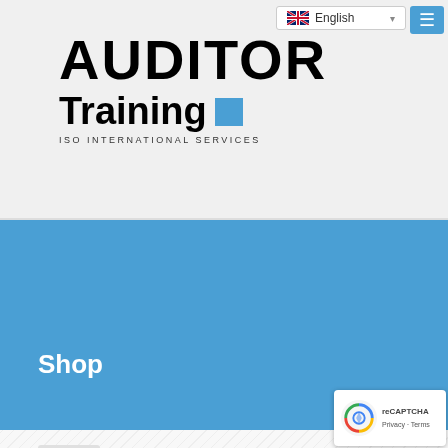[Figure (screenshot): Auditor Training ISO International Services website header with language selector and menu button]
AUDITOR Training ISO INTERNATIONAL SERVICES
Shop
[Figure (illustration): Product category thumbnails at bottom of shop page showing hand-drawn icons]
Show all
[Figure (logo): reCAPTCHA badge - Privacy Terms]